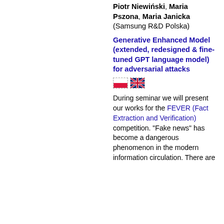Piotr Niewiński, Maria Pszona, Maria Janicka (Samsung R&D Polska)
Generative Enhanced Model (extended, redesigned & fine-tuned GPT language model) for adversarial attacks
[Figure (illustration): Polish flag and UK flag emoji icons]
During seminar we will present our works for the FEVER (Fact Extraction and Verification) competition. "Fake news" has become a dangerous phenomenon in the modern information circulation. There are